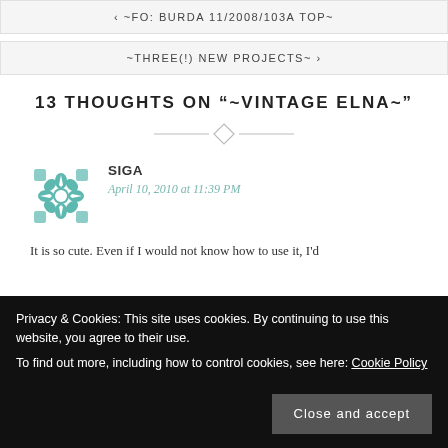< ~FO: BURDA 11/2008/103A TOP~
~THREE(!) NEW PROJECTS~ >
13 THOUGHTS ON "~VINTAGE ELNA~"
[Figure (illustration): Decorative diamond divider with horizontal lines]
SIGA
April 10, 2010 at 11:39 PM
It is so cute. Even if I would not know how to use it, I'd
Privacy & Cookies: This site uses cookies. By continuing to use this website, you agree to their use.
To find out more, including how to control cookies, see here: Cookie Policy
Close and accept
REPLY